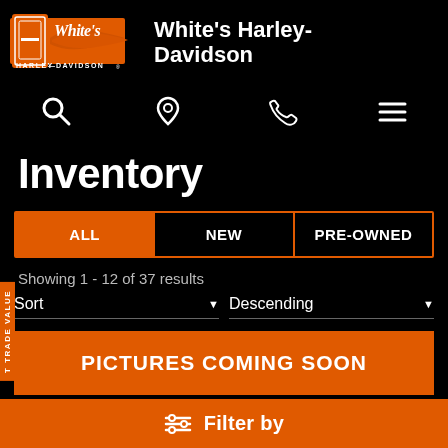[Figure (logo): White's Harley-Davidson logo with orange shield icon and stylized script text on black background]
White's Harley-Davidson
[Figure (screenshot): Navigation icons row: search (magnifying glass), location pin, phone, and hamburger menu on black background]
Inventory
[Figure (screenshot): Filter tabs: ALL (orange/selected), NEW, PRE-OWNED]
Showing 1 - 12 of 37 results
[Figure (screenshot): Sort controls: Sort dropdown and Descending dropdown with underlines]
[Figure (screenshot): Orange banner: PICTURES COMING SOON]
IT TRADE VALUE
[Figure (screenshot): Bottom orange filter bar with filter icon and Filter by text]